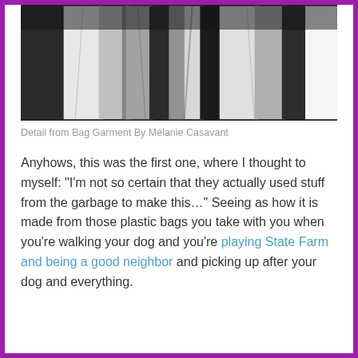[Figure (photo): Black and white photograph showing fabric garments or clothing, close-up detail view from Bag Garment by Mélanie Casavant]
Detail from Bag Garment By Mélanie Casavant
Anyhows, this was the first one, where I thought to myself: "I'm not so certain that they actually used stuff from the garbage to make this…" Seeing as how it is made from those plastic bags you take with you when you're walking your dog and you're playing State Farm and being a good neighbor and picking up after your dog and everything.